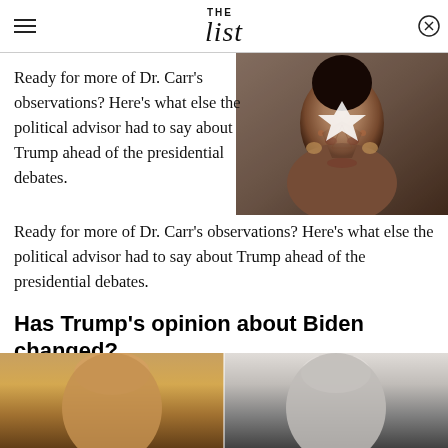THE List
[Figure (photo): Video thumbnail of a woman with dark hair pulled back, wearing gold earrings, with a play button overlay]
Ready for more of Dr. Carr's observations? Here's what else the political advisor had to say about Trump ahead of the presidential debates.
Has Trump's opinion about Biden changed?
[Figure (photo): Side-by-side photos of Donald Trump (left, with blonde hair) and Joe Biden (right, with white hair)]